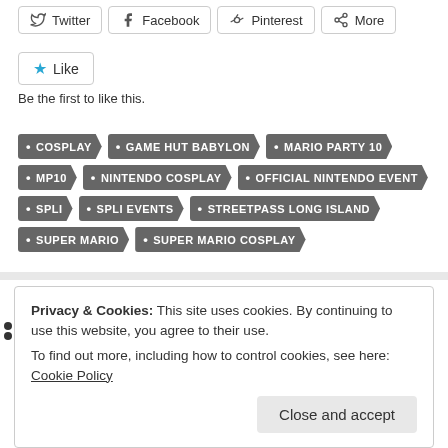Twitter, Facebook, Pinterest, More share buttons
Like
Be the first to like this.
COSPLAY
GAME HUT BABYLON
MARIO PARTY 10
MP10
NINTENDO COSPLAY
OFFICIAL NINTENDO EVENT
SPLI
SPLI EVENTS
STREETPASS LONG ISLAND
SUPER MARIO
SUPER MARIO COSPLAY
Privacy & Cookies: This site uses cookies. By continuing to use this website, you agree to their use. To find out more, including how to control cookies, see here: Cookie Policy
Close and accept